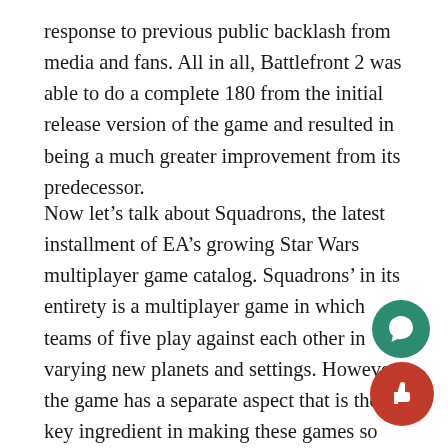response to previous public backlash from media and fans. All in all, Battlefront 2 was able to do a complete 180 from the initial release version of the game and resulted in being a much greater improvement from its predecessor.
Now let’s talk about Squadrons, the latest installment of EA’s growing Star Wars multiplayer game catalog. Squadrons’ in its entirety is a multiplayer game in which teams of five play against each other in varying new planets and settings. However, the game has a separate aspect that is the key ingredient in making these games so enjoyable, which is the campaign. In Battlefront 2, along with the multiplayer and co-op gameplay, they included storyline gameplay, in which the player follows an imperial defect who eventually joins the rebellion. Squadrons has a sim campaign and it’s one of the best modes in the game, giving light to players who prefer the lore and story of the fran rather than the multiplayer aspect. However, to have a